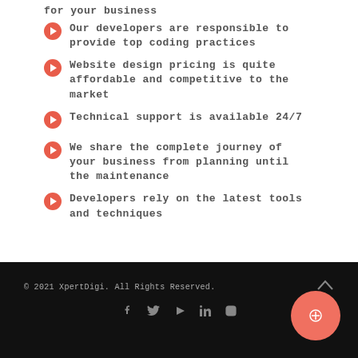for your business
Our developers are responsible to provide top coding practices
Website design pricing is quite affordable and competitive to the market
Technical support is available 24/7
We share the complete journey of your business from planning until the maintenance
Developers rely on the latest tools and techniques
© 2021 XpertDigi. All Rights Reserved.